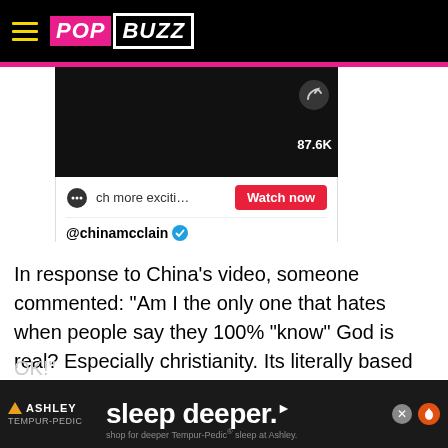POPBUZZ
[Figure (screenshot): TikTok embed showing a dark video thumbnail with 87.6K shares, a 'Watch now' button, username @chinamcclain with verification badge, and caption: 'God is good. humans are imperfect. we should put a human's wrongdoin ...See more']
In response to China's video, someone commented: "Am I the only one that hates when people say they 100% "know" God is real? Especially christianity. Its literally based off your faith. I also hate when someone says they 100%
[Figure (screenshot): Ashley / Tempur-Pedic advertisement banner reading 'sleep deeper.' with subtext 'shop for deeper Tempur-Pedic sleep at Ashley.']